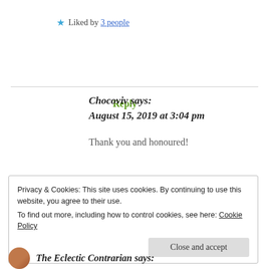★ Liked by 3 people
Reply
Chocoviv says:
August 15, 2019 at 3:04 pm
Thank you and honoured!
Privacy & Cookies: This site uses cookies. By continuing to use this website, you agree to their use.
To find out more, including how to control cookies, see here: Cookie Policy
The Eclectic Contrarian says: